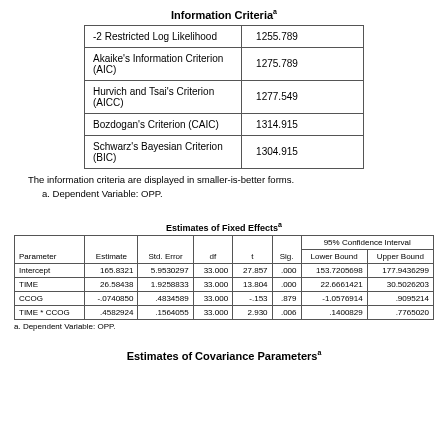Information Criteriaᵃ
|  |  |
| --- | --- |
| -2 Restricted Log Likelihood | 1255.789 |
| Akaike's Information Criterion (AIC) | 1275.789 |
| Hurvich and Tsai's Criterion (AICC) | 1277.549 |
| Bozdogan's Criterion (CAIC) | 1314.915 |
| Schwarz's Bayesian Criterion (BIC) | 1304.915 |
The information criteria are displayed in smaller-is-better forms.
a. Dependent Variable: OPP.
Estimates of Fixed Effectsᵃ
| Parameter | Estimate | Std. Error | df | t | Sig. | Lower Bound | Upper Bound |
| --- | --- | --- | --- | --- | --- | --- | --- |
| Intercept | 165.8321 | 5.9530297 | 33.000 | 27.857 | .000 | 153.7205698 | 177.9436299 |
| TIME | 26.58438 | 1.9258833 | 33.000 | 13.804 | .000 | 22.6661421 | 30.5026203 |
| CCOG | -.0740850 | .4834589 | 33.000 | -.153 | .879 | -1.0576914 | .9095214 |
| TIME * CCOG | .4582924 | .1564055 | 33.000 | 2.930 | .006 | .1400829 | .7765020 |
a. Dependent Variable: OPP.
Estimates of Covariance Parametersᵃ